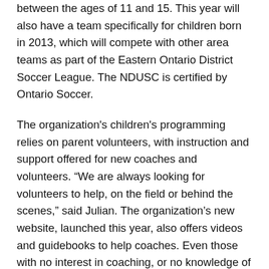between the ages of 11 and 15. This year will also have a team specifically for children born in 2013, which will compete with other area teams as part of the Eastern Ontario District Soccer League. The NDUSC is certified by Ontario Soccer.
The organization's children's programming relies on parent volunteers, with instruction and support offered for new coaches and volunteers. “We are always looking for volunteers to help, on the field or behind the scenes,” said Julian. The organization’s new website, launched this year, also offers videos and guidebooks to help coaches. Even those with no interest in coaching, or no knowledge of soccer, are invited to volunteer and lend a hand anyway they can.
Registration remains open, but not for long, and it is a great way to keep kids active this summer, Julian added. “Soccer